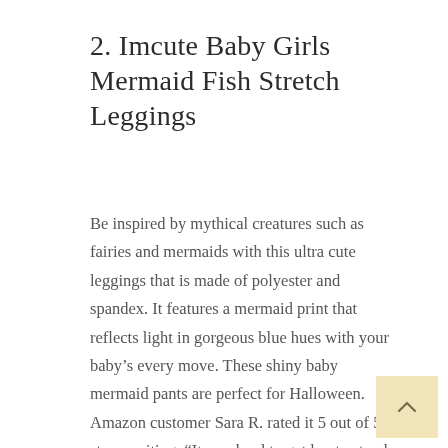2. Imcute Baby Girls Mermaid Fish Stretch Leggings
Be inspired by mythical creatures such as fairies and mermaids with this ultra cute leggings that is made of polyester and spandex. It features a mermaid print that reflects light in gorgeous blue hues with your baby's every move. These shiny baby mermaid pants are perfect for Halloween. Amazon customer Sara R. rated it 5 out of 5 stars, writing, “It was hard to get her to stand still, she liked them so much. They fit as expected, were soft, not itchy, and the